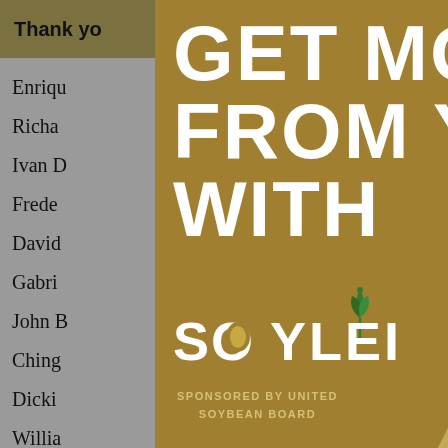Thank you ... ools you
Enriqu...
Richa...
Ivan D...
Frede...
David...
Gabri...
John B...
Ching...
Dicki...
Willia...
Mays
Kenn...
[Figure (screenshot): Advertisement overlay for Soyleic oil product, sponsored by United Soybean Board. Shows headline 'GET MORE FROM YOUR OIL WITH' in white bold text on gold/olive background, with the Soyleic brand logo featuring a plant sprout icon, and a photographic background of soybeans in the lower right portion.]
GET MORE FROM YOUR OIL WITH
SOYLEIC
SPONSORED BY UNITED SOYBEAN BOARD